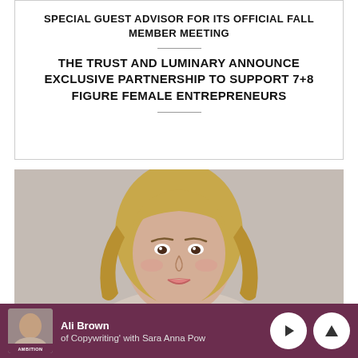SPECIAL GUEST ADVISOR FOR ITS OFFICIAL FALL MEMBER MEETING
THE TRUST AND LUMINARY ANNOUNCE EXCLUSIVE PARTNERSHIP TO SUPPORT 7+8 FIGURE FEMALE ENTREPRENEURS
[Figure (photo): Headshot of a blonde woman (Ali Brown) against a neutral gray background]
Ali Brown — of Copywriting' with Sara Anna Pow